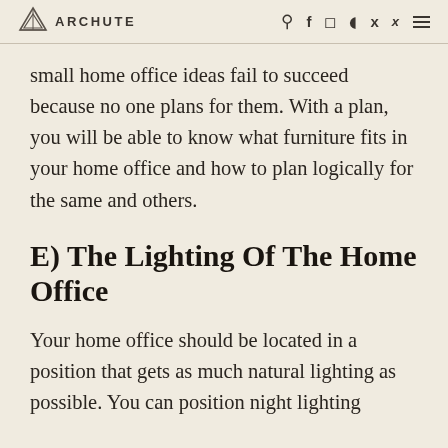ARCHUTE
small home office ideas fail to succeed because no one plans for them. With a plan, you will be able to know what furniture fits in your home office and how to plan logically for the same and others.
E) The Lighting Of The Home Office
Your home office should be located in a position that gets as much natural lighting as possible. You can position night lighting